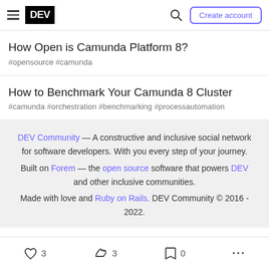DEV — Create account
How Open is Camunda Platform 8?
#opensource #camunda
How to Benchmark Your Camunda 8 Cluster
#camunda #orchestration #benchmarking #processautomation
DEV Community — A constructive and inclusive social network for software developers. With you every step of your journey. Built on Forem — the open source software that powers DEV and other inclusive communities. Made with love and Ruby on Rails. DEV Community © 2016 - 2022.
3  3  0  ...